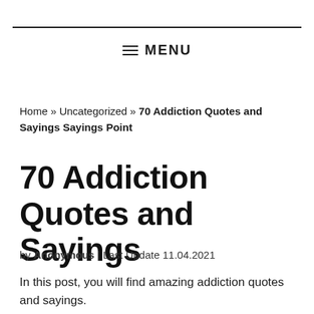≡  MENU
Home » Uncategorized » 70 Addiction Quotes and Sayings Sayings Point
70 Addiction Quotes and Sayings
by Anonymous | Last Update 11.04.2021
In this post, you will find amazing addiction quotes and sayings.